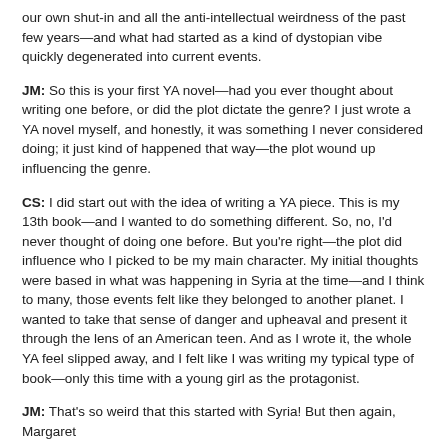our own shut-in and all the anti-intellectual weirdness of the past few years—and what had started as a kind of dystopian vibe quickly degenerated into current events.
JM: So this is your first YA novel—had you ever thought about writing one before, or did the plot dictate the genre? I just wrote a YA novel myself, and honestly, it was something I never considered doing; it just kind of happened that way—the plot wound up influencing the genre.
CS: I did start out with the idea of writing a YA piece. This is my 13th book—and I wanted to do something different. So, no, I'd never thought of doing one before. But you're right—the plot did influence who I picked to be my main character. My initial thoughts were based in what was happening in Syria at the time—and I think to many, those events felt like they belonged to another planet. I wanted to take that sense of danger and upheaval and present it through the lens of an American teen. And as I wrote it, the whole YA feel slipped away, and I felt like I was writing my typical type of book—only this time with a young girl as the protagonist.
JM: That's so weird that this started with Syria! But then again, Margaret